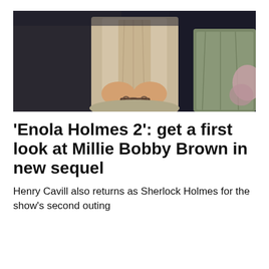[Figure (photo): A person seated wearing a Victorian-era white corset dress with handcuffs on wrists, another person partially visible in green clothing to the right, set against a dark background]
'Enola Holmes 2': get a first look at Millie Bobby Brown in new sequel
Henry Cavill also returns as Sherlock Holmes for the show's second outing